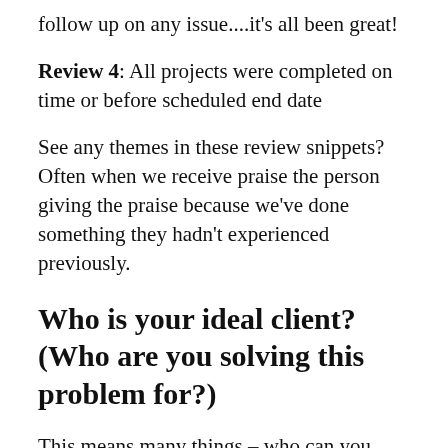follow up on any issue....it's all been great!
Review 4: All projects were completed on time or before scheduled end date
See any themes in these review snippets? Often when we receive praise the person giving the praise because we've done something they hadn't experienced previously.
Who is your ideal client? (Who are you solving this problem for?)
This means many things – who can you deliver the greatest value to, who do you enjoy working with, who needs what you do most.